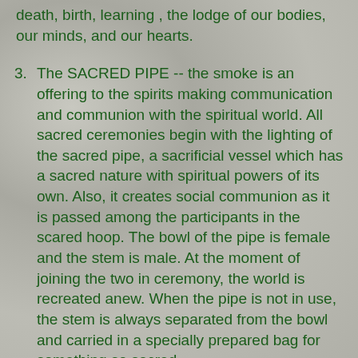death, birth, learning , the lodge of our bodies, our minds, and our hearts.
3. The SACRED PIPE -- the smoke is an offering to the spirits making communication and communion with the spiritual world. All sacred ceremonies begin with the lighting of the sacred pipe, a sacrificial vessel which has a sacred nature with spiritual powers of its own. Also, it creates social communion as it is passed among the participants in the scared hoop. The bowl of the pipe is female and the stem is male. At the moment of joining the two in ceremony, the world is recreated anew. When the pipe is not in use, the stem is always separated from the bowl and carried in a specially prepared bag for something so sacred.
4. There are many other sacred items such as the personal medicine bundle, always worn about the neck. Personal items were saved that represented high moments in the individual's life